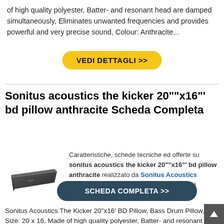of high quality polyester, Batter- and resonant head are damped simultaneously, Eliminates unwanted frequencies and provides powerful and very precise sound, Colour: Anthracite...
VEDI DETTAGLI >>
Sonitus acoustics the kicker 20""x16"' bd pillow anthracite Scheda Completa
Caratteristiche, schede tecniche ed offerte su sonitus acoustics the kicker 20""x16"' bd pillow anthracite realizzato da Sonitus Acoustics
Prezzo: 48 € (verifica nella scheda prodotto)
[Figure (photo): Product photo of a dark wedge-shaped bass drum pillow]
SCHEDA COMPLETA >>
Sonitus Acoustics The Kicker 20"x16' BD Pillow, Bass Drum Pillow, Size: 20 x 16, Made of high quality polyester, Batter- and resonant head are damped simultaneously, Eliminates unwanted frequen… Provides powerful and very precise sound, Colour: Anthracite...